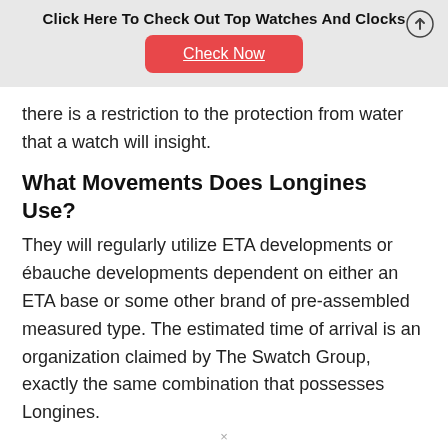Click Here To Check Out Top Watches And Clocks
[Figure (other): Red button labeled 'Check Now']
there is a restriction to the protection from water that a watch will insight.
What Movements Does Longines Use?
They will regularly utilize ETA developments or ébauche developments dependent on either an ETA base or some other brand of pre-assembled measured type. The estimated time of arrival is an organization claimed by The Swatch Group, exactly the same combination that possesses Longines.
×